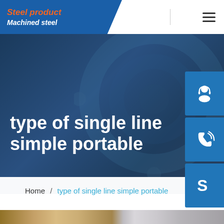Steel product | Machined steel
type of single line simple portable
[Figure (screenshot): Navigation sidebar with customer service icon (headset), phone icon, and Skype icon on blue square buttons]
Home / type of single line simple portable
[Figure (photo): Partial view of industrial/steel product machinery at bottom of page]